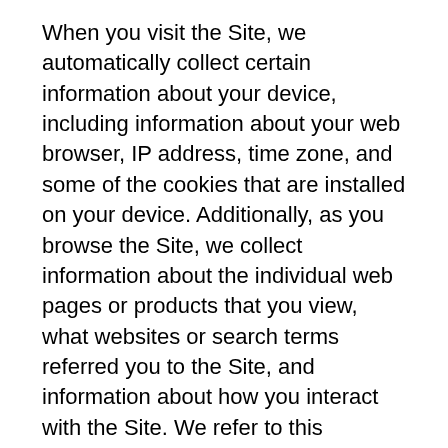When you visit the Site, we automatically collect certain information about your device, including information about your web browser, IP address, time zone, and some of the cookies that are installed on your device. Additionally, as you browse the Site, we collect information about the individual web pages or products that you view, what websites or search terms referred you to the Site, and information about how you interact with the Site. We refer to this automatically-collected information as “Device Information”.
We collect Device Information using the following technologies:
- “Cookies” are data files that are placed on your device or computer and often include an anonymous unique identifier. For more information about cookies, and how to disable cookies, visit